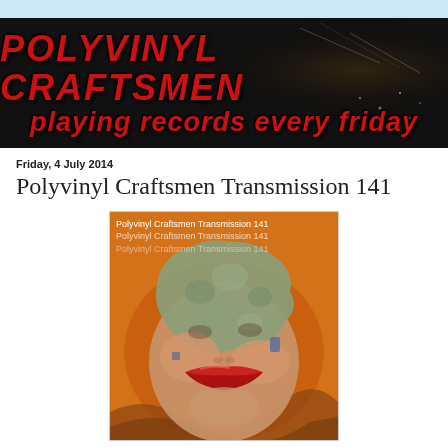[Figure (illustration): Polyvinyl Craftsmen banner with red stylized graffiti-style lettering on dark background reading 'POLYVINYL CRAFTSMEN' on top line and 'Playing records every Friday' on bottom line]
Friday, 4 July 2014
Polyvinyl Craftsmen Transmission 141
[Figure (photo): Album art for Polyvinyl Craftsmen Transmission 141 showing a surreal illustration of a face with red lips partially covered by grey/green textured material against an orange background. Title text appears three times at the top in decreasing opacity.]